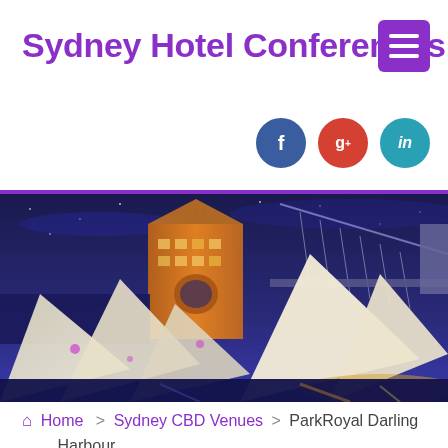Sydney Hotel Conferences
[Figure (photo): Nighttime photo of Sydney Opera House with illuminated sails and the Harbour Bridge in the background against a deep blue night sky]
Home > Sydney CBD Venues > ParkRoyal Darling Harbour